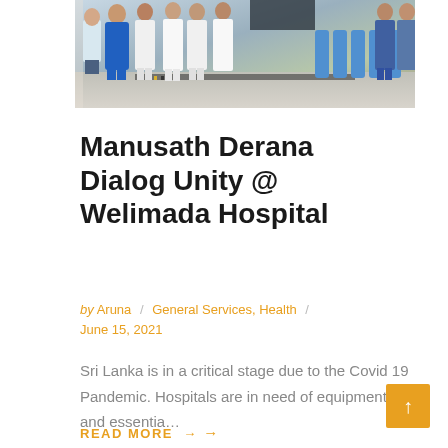[Figure (photo): Group of people standing in a line at Welimada Hospital, some in blue clothing and others in white uniforms, with equipment visible in the background.]
Manusath Derana Dialog Unity @ Welimada Hospital
by Aruna / General Services, Health / June 15, 2021
Sri Lanka is in a critical stage due to the Covid 19 Pandemic. Hospitals are in need of equipment and essentia…
READ MORE →